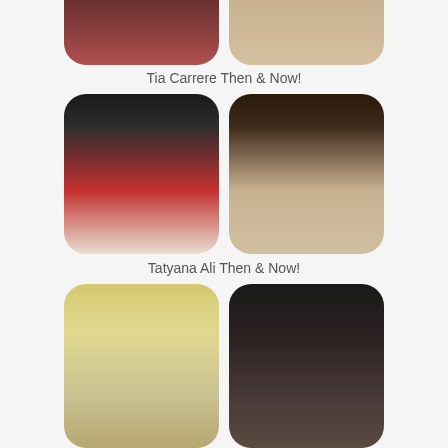[Figure (photo): Tia Carrere then and now - two circular/rounded cropped portrait photos, partially cut off at top]
Tia Carrere Then & Now!
[Figure (photo): Tatyana Ali then (young woman with long dark hair, red top) and now (adult woman with curly hair, formal wear) - two rounded portrait photos]
Tatyana Ali Then & Now!
[Figure (photo): Unknown actor then (child with blonde bowl cut and glasses) and now (adult man with long dark hair and beard, glasses) - two rounded portrait photos, partially cut off at bottom]